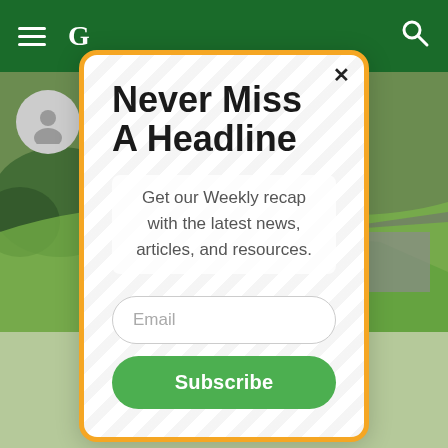[Figure (screenshot): Mobile website screenshot showing a green navigation bar at top, a golf course aerial background, and a newsletter signup modal overlay with orange border and diagonal stripe pattern.]
Never Miss A Headline
Get our Weekly recap with the latest news, articles, and resources.
Email
Subscribe